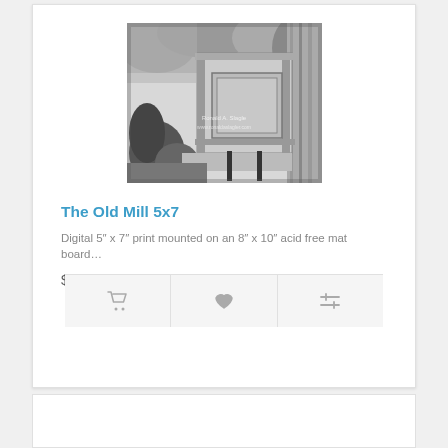[Figure (photo): Black and white photograph of an old mill structure with wooden beams, equipment, and surrounding foliage. Watermark text reads 'Ronald A. Slagle' and 'www.ronaldaslagler.com']
The Old Mill 5x7
Digital 5″ x 7″ print mounted on an 8″ x 10″ acid free mat board…
$20.00